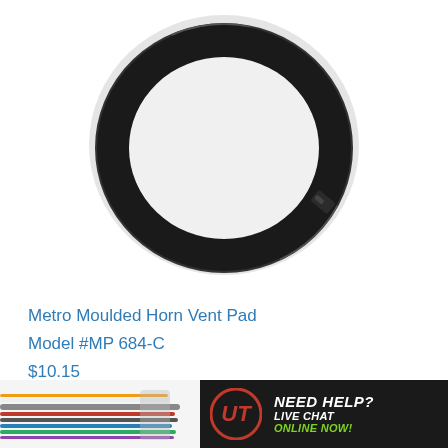[Figure (photo): Black rubber ring/gasket — Metro Moulded Horn Vent Pad product photo on white background with faint 'METRO' watermark text]
Metro Moulded Horn Vent Pad
Model #MP 684-C
$10.15
[Figure (photo): Partial view of wire harness on the left and a 'NEED HELP? LIVE CHAT ONLINE NOW!' banner with logo on the right bottom of the page]